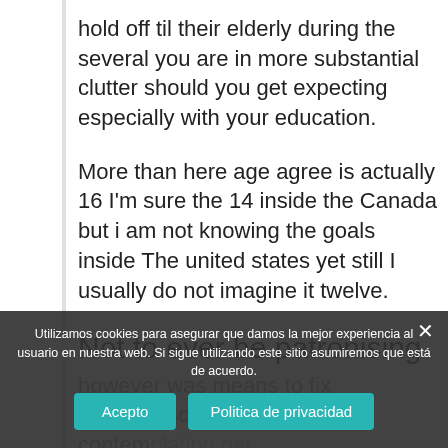hold off til their elderly during the several you are in more substantial clutter should you get expecting especially with your education.
More than here age agree is actually 16 I'm sure the 14 inside the Canada but i am not knowing the goals inside The united states yet still I usually do not imagine it twelve.
Not to ever be patronising
however was means to fix able to also be contemplating get the content planning get
Utilizamos cookies para asegurar que damos la mejor experiencia al usuario en nuestra web. Si sigue utilizando este sitio asumiremos que está de acuerdo.